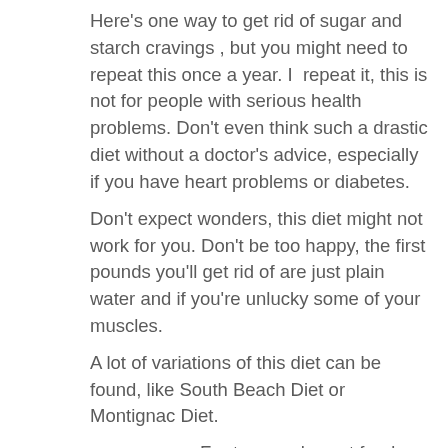Here's one way to get rid of sugar and starch cravings , but you might need to repeat this once a year. I  repeat it, this is not for people with serious health problems. Don't even think such a drastic diet without a doctor's advice, especially if you have heart problems or diabetes.
Don't expect wonders, this diet might not work for you. Don't be too happy, the first pounds you'll get rid of are just plain water and if you're unlucky some of your muscles.
A lot of variations of this diet can be found, like South Beach Diet or Montignac Diet.
For two weeks, cut foods with high or medium glycemic index like sugar, starches, fruits (with the exception of lemon juice and 1 handful of raspberries a day), vegetables like pumpkin